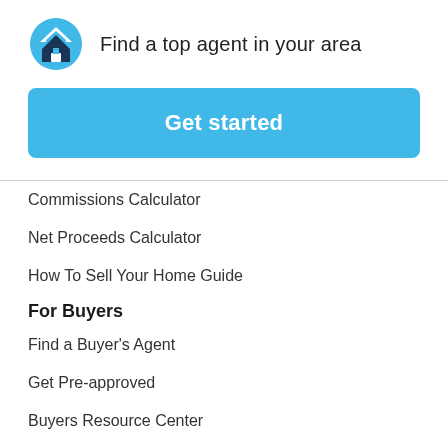[Figure (logo): Blue circular logo with white chevron/arrow pointing up and a house icon below it]
Find a top agent in your area
Get started
Commissions Calculator
Net Proceeds Calculator
How To Sell Your Home Guide
For Buyers
Find a Buyer's Agent
Get Pre-approved
Buyers Resource Center
Housing Market Trends